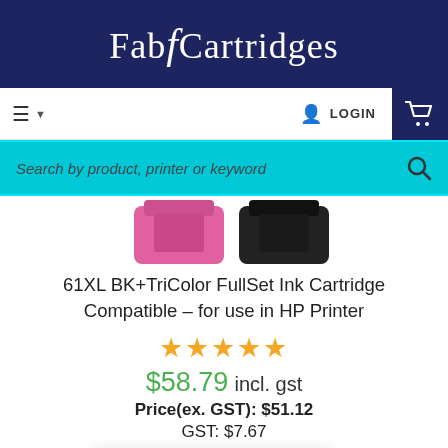Fab4Cartridges
LOGIN
Search by product, printer or keyword
[Figure (photo): Ink cartridges - pink/magenta and black cartridges partially visible at top]
61XL BK+TriColor FullSet Ink Cartridge Compatible – for use in HP Printer
★★★★★
$58.79 incl. gst
Price(ex. GST): $51.12
GST: $7.67
We're offline
Leave a message